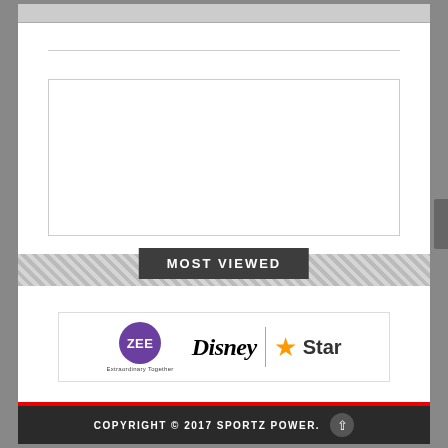[Figure (other): Empty white ad/content box with border]
MOST VIEWED
[Figure (logo): Logos of ZEE (Extraordinary Together), Disney, and Star with orange star icon]
COPYRIGHT © 2017 SPORTZ POWER.